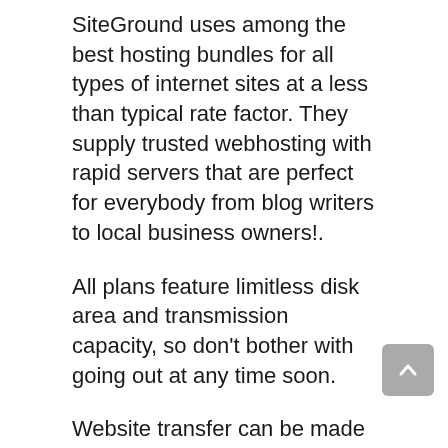SiteGround uses among the best hosting bundles for all types of internet sites at a less than typical rate factor. They supply trusted webhosting with rapid servers that are perfect for everybody from blog writers to local business owners!.
All plans feature limitless disk area and transmission capacity, so don't bother with going out at any time soon.
Website transfer can be made complex yet it doesn't need to be when you make use of Siteground's helpful team member that will walk you through every little thing from establishing to changing your domain name.
The highlight offered by SiteGround on their